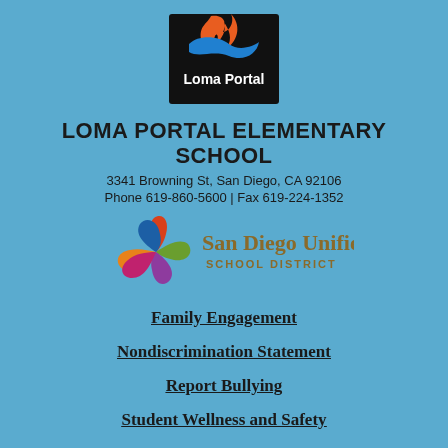[Figure (logo): Loma Portal Elementary School logo: orange and blue wave design on black background with white text 'Loma Portal']
LOMA PORTAL ELEMENTARY SCHOOL
3341 Browning St, San Diego, CA 92106
Phone 619-860-5600 | Fax 619-224-1352
[Figure (logo): San Diego Unified School District logo with colorful pinwheel flower and text 'San Diego Unified SCHOOL DISTRICT']
Family Engagement
Nondiscrimination Statement
Report Bullying
Student Wellness and Safety